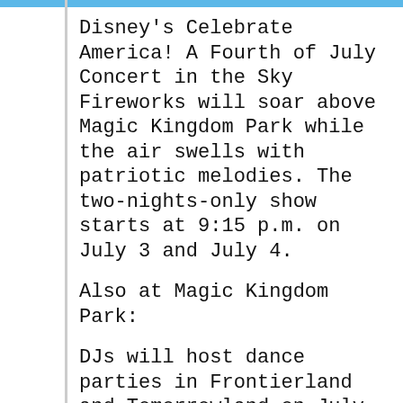Disney's Celebrate America! A Fourth of July Concert in the Sky
Fireworks will soar above Magic Kingdom Park while the air swells with patriotic melodies. The two-nights-only show starts at 9:15 p.m. on July 3 and July 4.
Also at Magic Kingdom Park:
DJs will host dance parties in Frontierland and Tomorrowland on July 3 and July 4. The Muppets Present…Great Moments in American History: Miss Piggy, Kermit, Fozzie Bear and friends reenact famous moments in American history – as only they can. The live show is performed daily in Liberty Square.
IllumiNations: Reflections of Earth The perennial "kiss goodnight" at Epcot